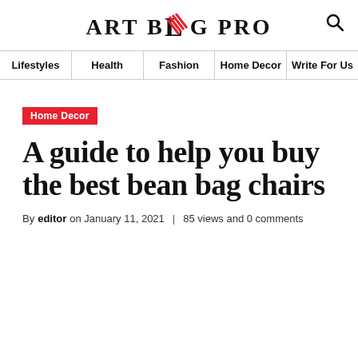ART BLOG PRO
Lifestyles | Health | Fashion | Home Decor | Write For Us
Home Decor
A guide to help you buy the best bean bag chairs
By editor on January 11, 2021 | 85 views and 0 comments